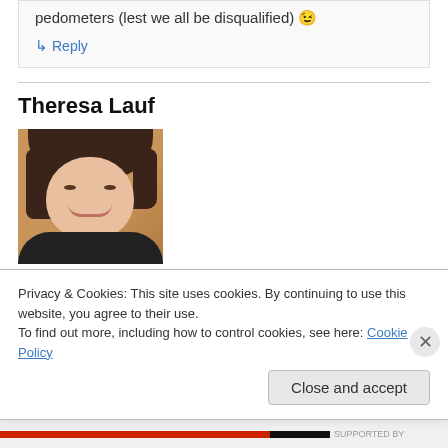pedometers (lest we all be disqualified) 😉
↳ Reply
Theresa Lauf
[Figure (photo): Headshot of Theresa Lauf, a woman with short dark brown bob hair, smiling, wearing a dark top, with a warm wood background.]
Privacy & Cookies: This site uses cookies. By continuing to use this website, you agree to their use.
To find out more, including how to control cookies, see here: Cookie Policy
Close and accept